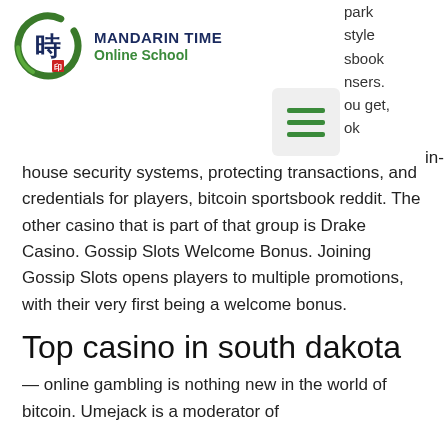[Figure (logo): Mandarin Time Online School logo: green circular brushstroke with Chinese character, brand name in dark blue and green]
park style sbook nsers. ou get, ok
in-house security systems, protecting transactions, and credentials for players, bitcoin sportsbook reddit. The other casino that is part of that group is Drake Casino. Gossip Slots Welcome Bonus. Joining Gossip Slots opens players to multiple promotions, with their very first being a welcome bonus.
Top casino in south dakota
— online gambling is nothing new in the world of bitcoin. Umejack is a moderator of